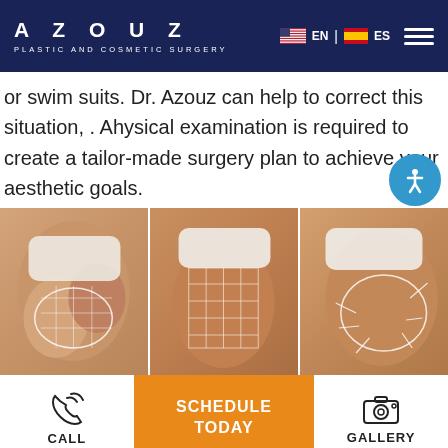AZOUZ PLASTIC AND COSMETIC SURGERY
or swim suits. Dr. Azouz can help to correct this situation, . Ahysical examination is required to create a tailor-made surgery plan to achieve your aesthetic goals.
[Figure (photo): Three-panel photo strip showing body contouring surgery markings on buttocks and thighs, with white grid/arrow markings drawn on skin, person wearing white underwear, beige background.]
CALL
SCHEDULE TODAY
GALLERY